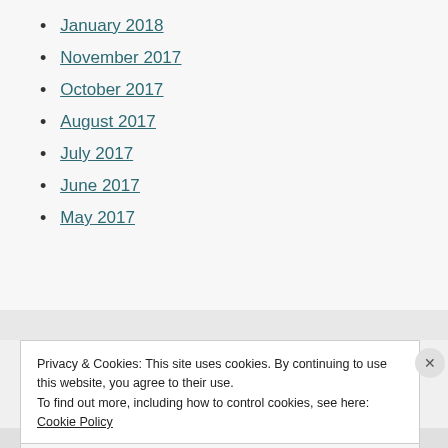January 2018
November 2017
October 2017
August 2017
July 2017
June 2017
May 2017
Privacy & Cookies: This site uses cookies. By continuing to use this website, you agree to their use. To find out more, including how to control cookies, see here: Cookie Policy
Close and accept